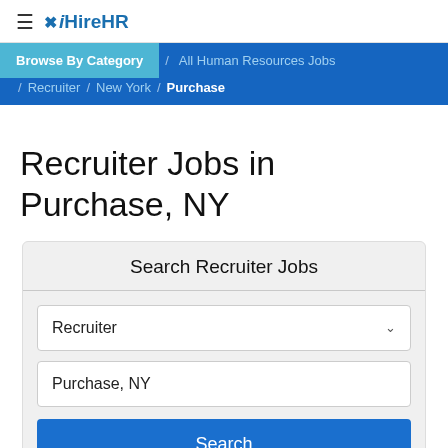iHireHR
Browse By Category / All Human Resources Jobs / Recruiter / New York / Purchase
Recruiter Jobs in Purchase, NY
Search Recruiter Jobs
Recruiter
Purchase, NY
Search